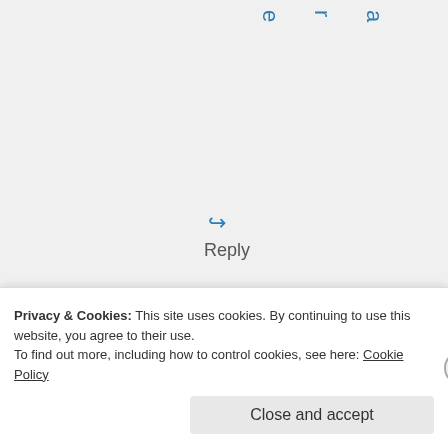a r e
Reply
[Figure (photo): User avatar: circular profile photo of a person]
r o s r
Privacy & Cookies: This site uses cookies. By continuing to use this website, you agree to their use. To find out more, including how to control cookies, see here: Cookie Policy
Close and accept